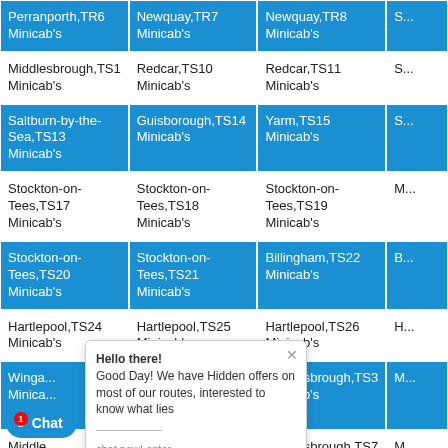| Perranporth,TR6 Minicab's | Newquay,TR7 Minicab's | Newquay,TR8 Minicab's | (cut off) |
| Middlesbrough,TS1 Minicab's | Redcar,TS10 Minicab's | Redcar,TS11 Minicab's | (cut off) |
| Saltburn-by-the-Sea,TS13 Minicab's | Guisborough,TS14 Minicab's | Yarm,TS15 Minicab's | (cut off) |
| Stockton-on-Tees,TS17 Minicab's | Stockton-on-Tees,TS18 Minicab's | Stockton-on-Tees,TS19 Minicab's | (cut off) |
| Stockton-on-Tees,TS20 Minicab's | Stockton-on-Tees,TS21 Minicab's | Billingham,TS22 Minicab's | (cut off) |
| Hartlepool,TS24 Minicab's | Hartlepool,TS25 Minicab's | Hartlepool,TS26 Minicab's | (cut off) |
| Winga... Minica... | Trimdon Station,TS29 Minicab's | Middlesbrough,TS3 Minicab's | (cut off) |
| Middle... Minica... | Middlesbrough,TS6 Minicab's | Middlesbrough,TS7 Minicab's | (cut off) |
| Middle... Minica... | Twickenham,TW1 Minicab's | Richmond,TW10 Minicab's | (cut off) |
| Hampton,TW12 | Feltham,TW13 Minicab's | Feltham,TW14 Minicab's | (cut off) |
Hello there!
Good Day! We have Hidden offers on most of our routes, interested to know what lies
chat now! enter
Chat